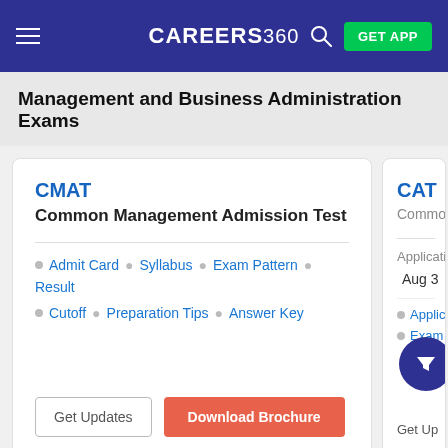CAREERS360 | GET APP
Management and Business Administration Exams
CMAT
Common Management Admission Test
Admit Card · Syllabus · Exam Pattern · Result
Cutoff · Preparation Tips · Answer Key
Get Updates | Download Brochure
CAT
Common
Application
Aug 3
Application
Exam P
Get Up